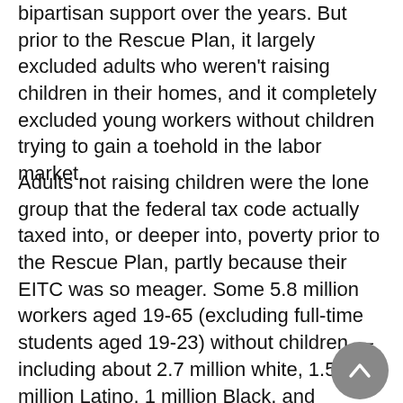bipartisan support over the years. But prior to the Rescue Plan, it largely excluded adults who weren't raising children in their homes, and it completely excluded young workers without children trying to gain a toehold in the labor market.
Adults not raising children were the lone group that the federal tax code actually taxed into, or deeper into, poverty prior to the Rescue Plan, partly because their EITC was so meager. Some 5.8 million workers aged 19-65 (excluding full-time students aged 19-23) without children — including about 2.7 million white, 1.5 million Latino, 1 million Black, and 253,000 Asian workers — were taxed into or deeper into poverty.[13] The shares of such Latino and Black workers are disproportionately high (about 26 percent are Latino and 18 percent are Black, compared to 19 percent and 12 percent of the population, respectively), again reflecting historical barriers to economic opportunity that have led to their overrepresentation in low-paid work.